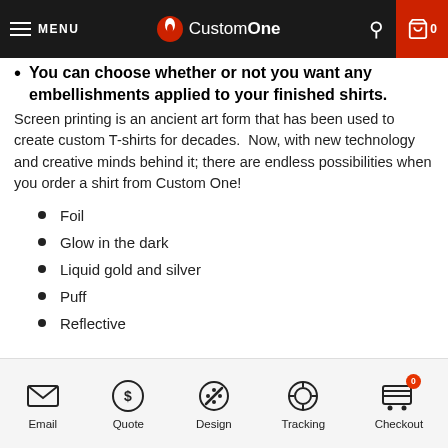MENU | CustomOne | Search | Cart 0
You can choose whether or not you want any embellishments applied to your finished shirts.
Screen printing is an ancient art form that has been used to create custom T-shirts for decades.  Now, with new technology and creative minds behind it; there are endless possibilities when you order a shirt from Custom One!
Foil
Glow in the dark
Liquid gold and silver
Puff
Reflective
Email | Quote | Design | Tracking | Checkout